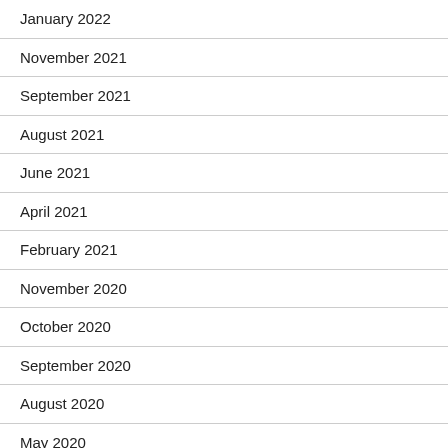January 2022
November 2021
September 2021
August 2021
June 2021
April 2021
February 2021
November 2020
October 2020
September 2020
August 2020
May 2020
April 2020